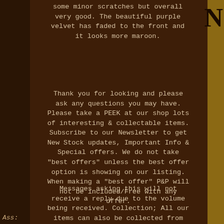some minor scratches but overall very good. The beautiful purple velvet has faded to the front and it looks more maroon.
Thank you for looking and please ask any questions you may have. Please take a PEEK at our shop lots of interesting & collectable items. Subscribe to our Newsletter to get New Stock updates, Important Info & Special offers. We do not take "best offers" unless the best offer option is showing on our listing. When making a "best offer" P&P will not be included/Free with any offer.
Messages asking this will not receive a reply due to the volume being received. Collection; All our items can also be collected from our shop in Doncaster free of charge.
Ass: